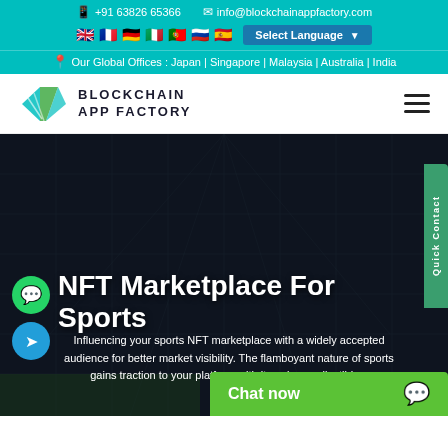📱 +91 63826 65366   ✉ info@blockchainappfactory.com
Select Language | flags row
Our Global Offices : Japan | Singapore | Malaysia | Australia | India
[Figure (logo): Blockchain App Factory logo with diamond/chevron shape in teal and green]
NFT Marketplace For Sports
Influencing your sports NFT marketplace with a widely accepted audience for better market visibility. The flamboyant nature of sports gains traction to your platform with its unique collectibles.
Chat now